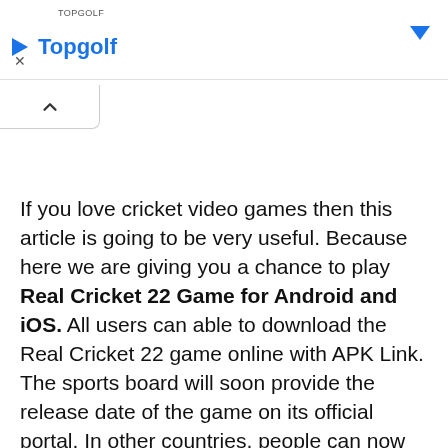[Figure (other): Topgolf advertisement banner with logo, play button icon, blue dropdown arrow, and close X button]
If you love cricket video games then this article is going to be very useful. Because here we are giving you a chance to play Real Cricket 22 Game for Android and iOS. All users can able to download the Real Cricket 22 game online with APK Link. The sports board will soon provide the release date of the game on its official portal. In other countries, people can now download the game from various download sources.
All sources where Real Cricket 22 game will be downloaded to use in both Android and iOS platforms. In India, the launch ceremony